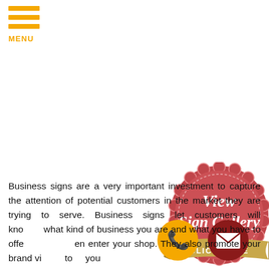[Figure (logo): Hamburger menu icon with three gold/yellow horizontal bars and 'MENU' label in gold text below]
[Figure (infographic): Red scalloped badge/seal with white cursive text 'View Sign Gallery' and a gold ribbon banner at the bottom with text 'CLICK HERE']
[Figure (illustration): Yellow circle with white phone handset icon]
[Figure (illustration): Dark red/maroon circle with white envelope/email icon]
Business signs are a very important investment to capture the attention of potential customers in the market they are trying to serve. Business signs let customers will know what kind of business you are and what you have to offer the moment they enter your shop. They also promote your brand visibility to all you